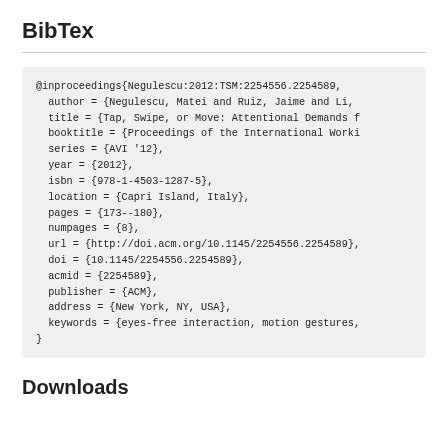BibTex
@inproceedings{Negulescu:2012:TSM:2254556.2254589,
  author = {Negulescu, Matei and Ruiz, Jaime and Li,
  title = {Tap, Swipe, or Move: Attentional Demands f
  booktitle = {Proceedings of the International Worki
  series = {AVI '12},
  year = {2012},
  isbn = {978-1-4503-1287-5},
  location = {Capri Island, Italy},
  pages = {173--180},
  numpages = {8},
  url = {http://doi.acm.org/10.1145/2254556.2254589},
  doi = {10.1145/2254556.2254589},
  acmid = {2254589},
  publisher = {ACM},
  address = {New York, NY, USA},
  keywords = {eyes-free interaction, motion gestures,
}
Downloads